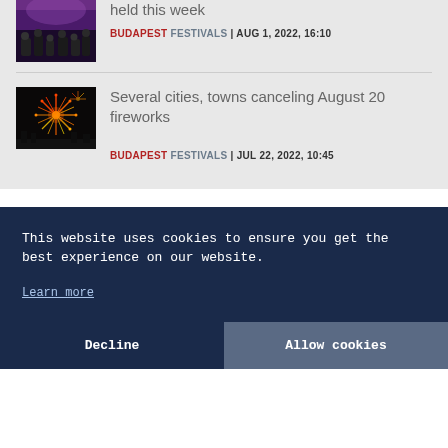held this week
BUDAPEST FESTIVALS | AUG 1, 2022, 16:10
Several cities, towns canceling August 20 fireworks
BUDAPEST FESTIVALS | JUL 22, 2022, 10:45
This website uses cookies to ensure you get the best experience on our website.
Learn more
Decline
Allow cookies